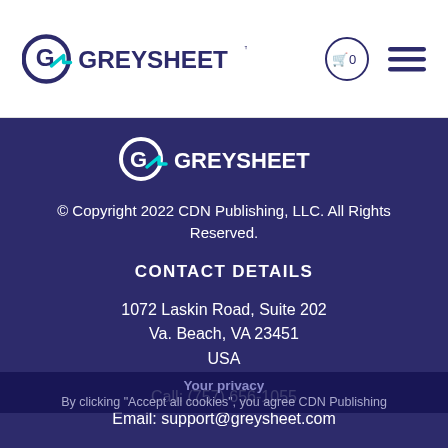GREYSHEET — navigation header with logo, cart icon (0), and menu icon
[Figure (logo): Greysheet logo in footer — white text with teal G icon]
© Copyright 2022 CDN Publishing, LLC. All Rights Reserved.
CONTACT DETAILS
1072 Laskin Road, Suite 202
Va. Beach, VA 23451
USA
Call: (757) 656-1055
Email: support@greysheet.com
Your privacy
By clicking "Accept all cookies", you agree CDN Publishing